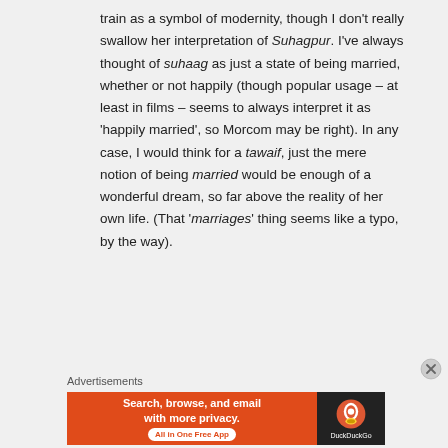train as a symbol of modernity, though I don't really swallow her interpretation of Suhagpur. I've always thought of suhaag as just a state of being married, whether or not happily (though popular usage – at least in films – seems to always interpret it as 'happily married', so Morcom may be right). In any case, I would think for a tawaif, just the mere notion of being married would be enough of a wonderful dream, so far above the reality of her own life. (That 'marriages' thing seems like a typo, by the way).
Advertisements
[Figure (other): DuckDuckGo advertisement banner: orange section with text 'Search, browse, and email with more privacy. All in One Free App' and dark section with DuckDuckGo logo and name.]